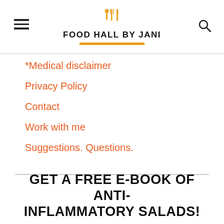Food Hall by Jani
*Medical disclaimer
Privacy Policy
Contact
Work with me
Suggestions. Questions.
GET A FREE E-BOOK OF ANTI-INFLAMMATORY SALADS!